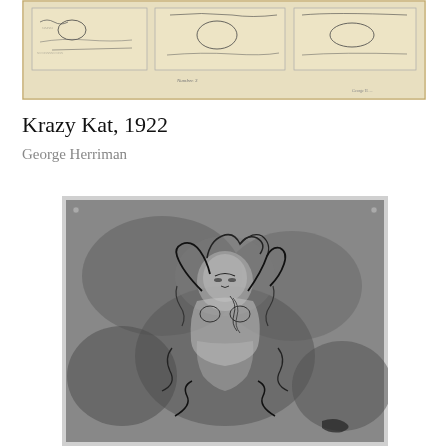[Figure (illustration): Black and white comic strip artwork, Krazy Kat, showing panels with cartoon characters and handwritten text, on aged yellowish paper]
Krazy Kat, 1922
George Herriman
[Figure (illustration): Charcoal or graphite drawing of a nude female figure with arms raised behind head, expressive abstract style, dark smoky background, black and white tones]